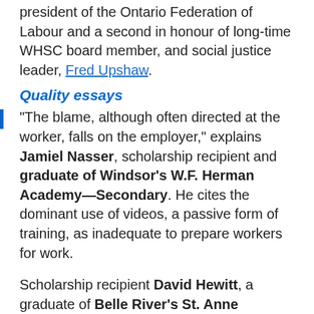president of the Ontario Federation of Labour and a second in honour of long-time WHSC board member, and social justice leader, Fred Upshaw.
Quality essays
"The blame, although often directed at the worker, falls on the employer," explains Jamiel Nasser, scholarship recipient and graduate of Windsor's W.F. Herman Academy—Secondary. He cites the dominant use of videos, a passive form of training, as inadequate to prepare workers for work.
Scholarship recipient David Hewitt, a graduate of Belle River's St. Anne Catholic High School, echoes Nasser's views. He suggests employers provide workers with proper Health and Safety Awareness Training, introduce new workers to joint committee members so they know who to approach with health and safety concerns and